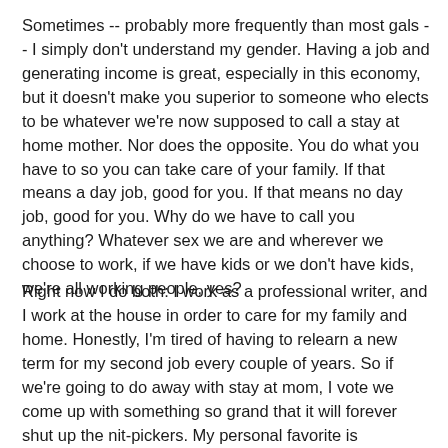Sometimes -- probably more frequently than most gals -- I simply don't understand my gender. Having a job and generating income is great, especially in this economy, but it doesn't make you superior to someone who elects to be whatever we're now supposed to call a stay at home mother. Nor does the opposite. You do what you have to so you can take care of your family. If that means a day job, good for you. If that means no day job, good for you. Why do we have to call you anything? Whatever sex we are and wherever we choose to work, if we have kids or we don't have kids, we're all working people, yes?
Right now I do both: I work as a professional writer, and I work at the house in order to care for my family and home. Honestly, I'm tired of having to relearn a new term for my second job every couple of years. So if we're going to do away with stay at mom, I vote we come up with something so grand that it will forever shut up the nit-pickers. My personal favorite is Domestic Crises Manager; that's a one-size fits all unisex term that embraces all aspects of the job. Can never be called sexist, sounds important, and looks